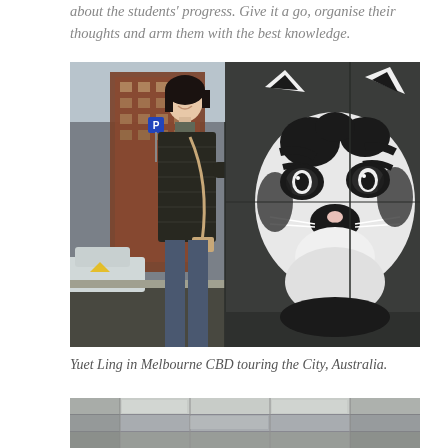about the students' progress. Give it a go, organise their thoughts and arm them with the best knowledge.
[Figure (photo): Photo of Yuet Ling standing in Melbourne CBD street next to a large black and white cat face mural on a wall. She is wearing a black puffer jacket with a crossbody bag, smiling. Urban street scene with buildings and a car visible on the left.]
Yuet Ling in Melbourne CBD touring the City, Australia.
[Figure (photo): Partial photo showing what appears to be a modern interior ceiling or architectural structure with metallic panels, partially visible at the bottom of the page.]